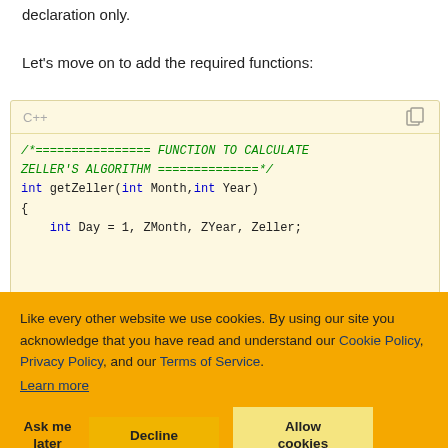declaration only.
Let's move on to add the required functions:
[Figure (screenshot): C++ code block on a light yellow background showing a function declaration for getZeller using Zeller's algorithm, with syntax highlighting in green and blue on monospace font.]
Like every other website we use cookies. By using our site you acknowledge that you have read and understand our Cookie Policy, Privacy Policy, and our Terms of Service.
Learn more
Ask me later  Decline  Allow cookies